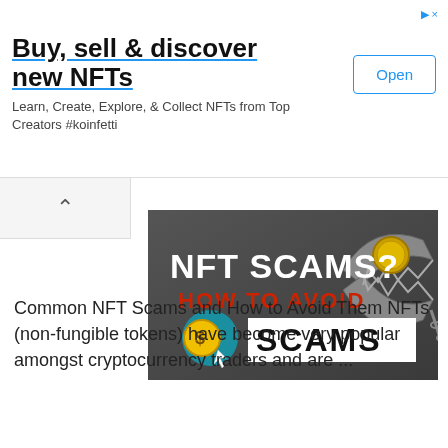Buy, sell & discover new NFTs
Learn, Create, Explore, & Collect NFTs from Top Creators #koinfetti
[Figure (screenshot): NFT Scams? How to Avoid Scams thumbnail image showing a bear trap with a gold coin and dollar sign cursor icon on dark background]
Common NFT Scams and How to Avoid Them NFTs (non-fungible tokens) have become very popular amongst cryptocurrency traders and are ...